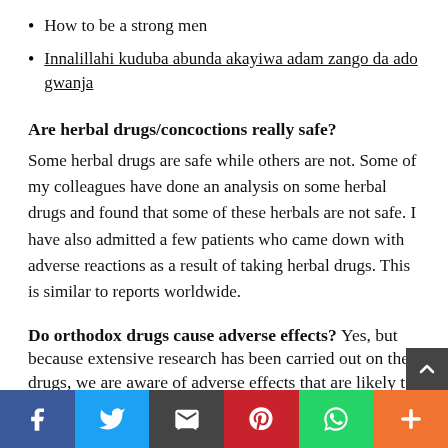How to be a strong men
Innalillahi kuduba abunda akayiwa adam zango da ado gwanja
Are herbal drugs/concoctions really safe?
Some herbal drugs are safe while others are not. Some of my colleagues have done an analysis on some herbal drugs and found that some of these herbals are not safe. I have also admitted a few patients who came down with adverse reactions as a result of taking herbal drugs. This is similar to reports worldwide.
Do orthodox drugs cause adverse effects?
Yes, but because extensive research has been carried out on the drugs, we are aware of adverse effects that are likely to occur. For most herbal drugs these tests have not been